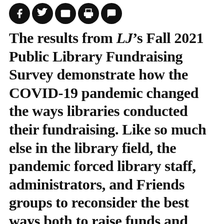[Figure (other): Row of five social media / sharing icon buttons (Facebook, Twitter, email, print, comment) shown as white icons on black circles]
The results from LJ's Fall 2021 Public Library Fundraising Survey demonstrate how the COVID-19 pandemic changed the ways libraries conducted their fundraising. Like so much else in the library field, the pandemic forced library staff, administrators, and Friends groups to reconsider the best ways both to raise funds and utilize them.